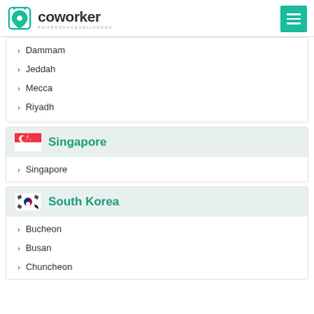coworker #WORKSPACEDELIVERED
Dammam
Jeddah
Mecca
Riyadh
Singapore
Singapore
South Korea
Bucheon
Busan
Chuncheon